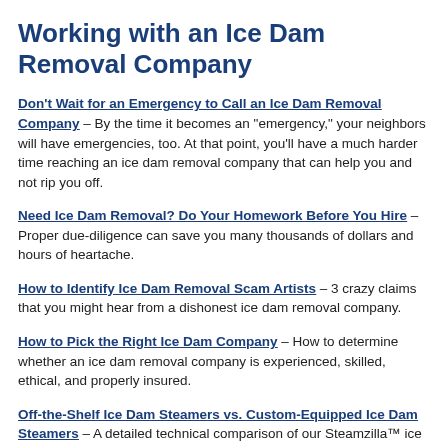Working with an Ice Dam Removal Company
Don't Wait for an Emergency to Call an Ice Dam Removal Company – By the time it becomes an "emergency," your neighbors will have emergencies, too. At that point, you'll have a much harder time reaching an ice dam removal company that can help you and not rip you off.
Need Ice Dam Removal? Do Your Homework Before You Hire – Proper due-diligence can save you many thousands of dollars and hours of heartache.
How to Identify Ice Dam Removal Scam Artists – 3 crazy claims that you might hear from a dishonest ice dam removal company.
How to Pick the Right Ice Dam Company – How to determine whether an ice dam removal company is experienced, skilled, ethical, and properly insured.
Off-the-Shelf Ice Dam Steamers vs. Custom-Equipped Ice Dam Steamers – A detailed technical comparison of our Steamzilla™ ice dam steamers to what other companies consider good enough.